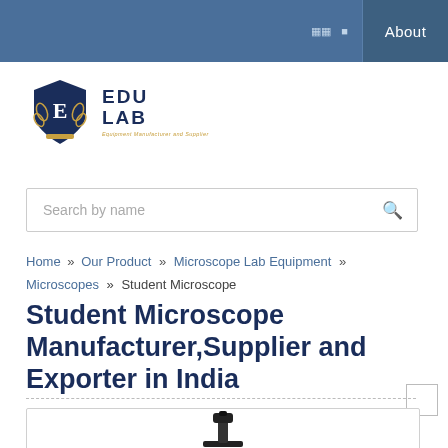About
[Figure (logo): EduLab logo with shield emblem, navy blue shield with letter E surrounded by laurel wreath, text EDU LAB with tagline]
Search by name
Home » Our Product » Microscope Lab Equipment » Microscopes » Student Microscope
Student Microscope Manufacturer,Supplier and Exporter in India
[Figure (photo): Partial view of a student microscope, black instrument visible at bottom of page]